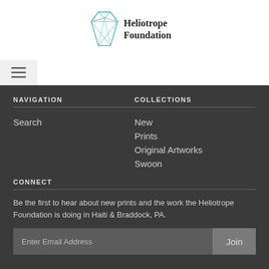[Figure (logo): Heliotrope Foundation logo with teal geometric gem icon and text 'Heliotrope Foundation']
[Figure (other): Hamburger menu button icon (three horizontal lines) on light gray background]
NAVIGATION
COLLECTIONS
Search
New
Prints
Original Artworks
Swoon
CONNECT
Be the first to hear about new prints and the work the Heliotrope Foundation is doing in Haiti & Braddock, PA.